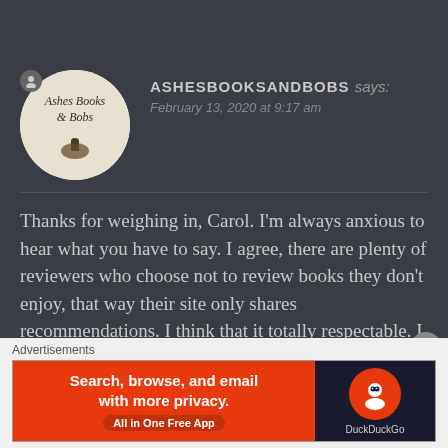ASHESBOOKSANDBOBS says:
February 13, 2020 at 9:17 am
Thanks for weighing in, Carol. I'm always anxious to hear what you have to say. I agree, there are plenty of reviewers who choose not to review books they don't enjoy, that way their site only shares recommendations. I think that it totally respectable. I think the issue for me comes with the false positives. I actually received
Advertisements
[Figure (screenshot): DuckDuckGo advertisement banner: orange background with text 'Search, browse, and email with more privacy.' and 'All in One Free App', with DuckDuckGo logo on dark background on the right side]